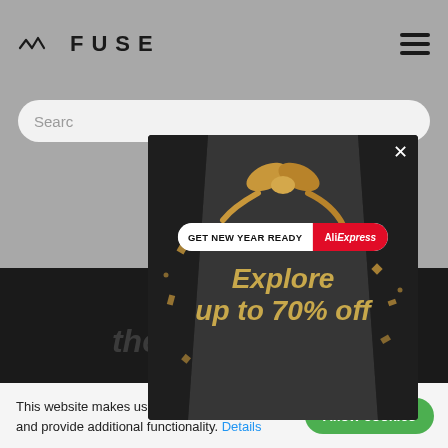[Figure (screenshot): FUSE website header with logo and hamburger menu on grey background]
Search
[Figure (screenshot): AliExpress advertisement modal: GET NEW YEAR READY | AliExpress — Explore up to 70% off the bestsellers. Dark background with gold ribbon and confetti decoration. X close button top right.]
This website makes use of cookies to enhance browsing experience and provide additional functionality. Details
Allow cookies